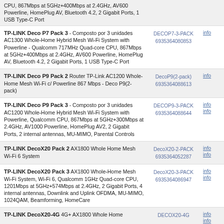TP-LINK Deco P7 Pack 3 - Composto por 3 unidades AC1300 Whole-Home Hybrid Mesh Wi-Fi System with Powerline - Qualcomm 717MHz Quad-core CPU, 867Mbps at 5GHz+400Mbps at 2.4GHz, AV600 Powerline, HomePlug AV, Bluetooth 4.2, 2 Gigabit Ports, 1 USB Type-C Port | DECOP7-3-PACK 6935364080853 | info
TP-LINK Deco P9 Pack 2 Router TP-Link AC1200 Whole-Home Mesh Wi-Fi c/ Powerline 867 Mbps - Deco P9(2-pack) | DecoP9(2-pack) 6935364088613 | info
TP-LINK Deco P9 Pack 3 - Composto por 3 unidades AC1200 Whole-Home Hybrid Mesh Wi-Fi System with Powerline, Qualcomm CPU, 867Mbps at 5GHz+300Mbps at 2.4GHz, AV1000 Powerline, HomePlug AV2, 2 Gigabit Ports, 2 internal antennas, MU-MIMO, Parental Controls | DECOP9-3-PACK 6935364088644 | info info
TP-LINK DecoX20 Pack 2 AX1800 Whole Home Mesh Wi-Fi 6 System | DecoX20-2-PACK 6935364052287 | info info
TP-LINK DecoX20 Pack 3 AX1800 Whole-Home Mesh Wi-Fi System, Wi-Fi 6, Qualcomm 1GHz Quad-core CPU, 1201Mbps at 5GHz+574Mbps at 2.4GHz, 2 Gigabit Ports, 4 internal antennas, Downlink and Uplink OFDMA, MU-MIMO, 1024QAM, Beamforming, HomeCare | DecoX20-3-PACK 6935364086947 | info info
TP-LINK DecoX20-4G 4G+ AX1800 Whole Home ... | DECOX20-4G | info info